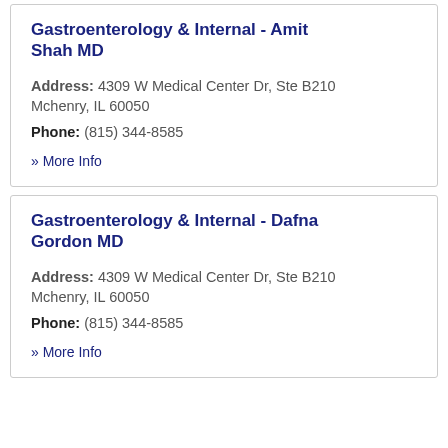Gastroenterology & Internal - Amit Shah MD
Address: 4309 W Medical Center Dr, Ste B210
Mchenry, IL 60050
Phone: (815) 344-8585
» More Info
Gastroenterology & Internal - Dafna Gordon MD
Address: 4309 W Medical Center Dr, Ste B210
Mchenry, IL 60050
Phone: (815) 344-8585
» More Info